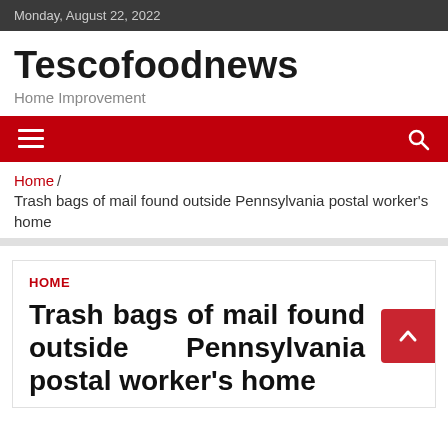Monday, August 22, 2022
Tescofoodnews
Home Improvement
[Figure (other): Red navigation bar with hamburger menu icon on left and search icon on right]
Home / Trash bags of mail found outside Pennsylvania postal worker's home
HOME
Trash bags of mail found outside Pennsylvania postal worker's home